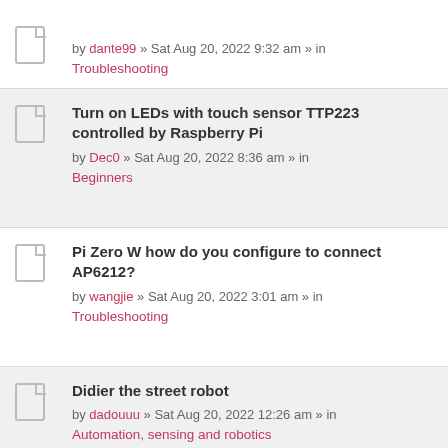by dante99 » Sat Aug 20, 2022 9:32 am » in Troubleshooting
Turn on LEDs with touch sensor TTP223 controlled by Raspberry Pi
by Dec0 » Sat Aug 20, 2022 8:36 am » in Beginners
Pi Zero W how do you configure to connect AP6212?
by wangjie » Sat Aug 20, 2022 3:01 am » in Troubleshooting
Didier the street robot
by dadouuu » Sat Aug 20, 2022 12:26 am » in Automation, sensing and robotics
Booted into rpi-5.19.y and lirc runs but